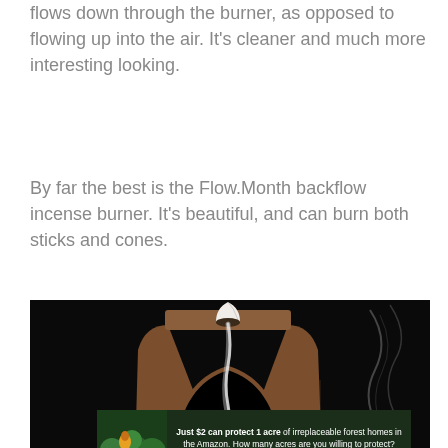flows down through the burner, as opposed to flowing up into the air. It's cleaner and much more interesting looking.
By far the best is the Flow.Month backflow incense burner. It's beautiful, and can burn both sticks and cones.
[Figure (photo): A backflow incense burner with a wooden arch frame design on a black background. The burner has a wooden double-arch structure with a white ceramic cone on top, and white smoke flowing downward. On the right side, wisps of incense smoke are visible.]
[Figure (infographic): Advertisement banner: dark green background with lush forest/Amazon imagery on the left, white text reading 'Just $2 can protect 1 acre of irreplaceable forest homes in the Amazon. How many acres are you willing to protect?' and a green 'PROTECT FORESTS NOW' button.]